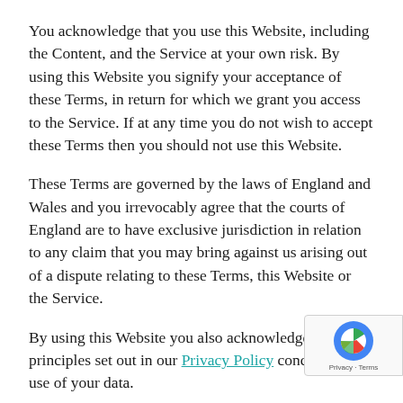You acknowledge that you use this Website, including the Content, and the Service at your own risk. By using this Website you signify your acceptance of these Terms, in return for which we grant you access to the Service. If at any time you do not wish to accept these Terms then you should not use this Website.
These Terms are governed by the laws of England and Wales and you irrevocably agree that the courts of England are to have exclusive jurisdiction in relation to any claim that you may bring against us arising out of a dispute relating to these Terms, this Website or the Service.
By using this Website you also acknowledge the principles set out in our Privacy Policy concerning the use of your data.
Use of the Website